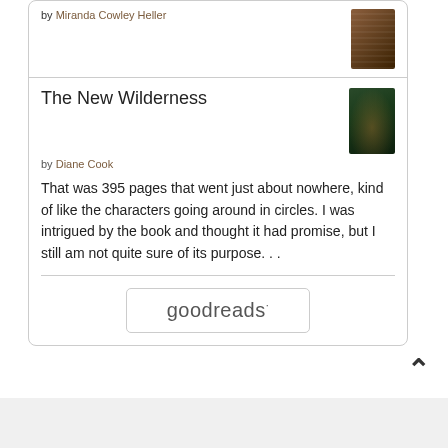by Miranda Cowley Heller
The New Wilderness
by Diane Cook
That was 395 pages that went just about nowhere, kind of like the characters going around in circles. I was intrigued by the book and thought it had promise, but I still am not quite sure of its purpose. . .
[Figure (logo): goodreads logo button]
[Figure (illustration): Up chevron arrow icon]